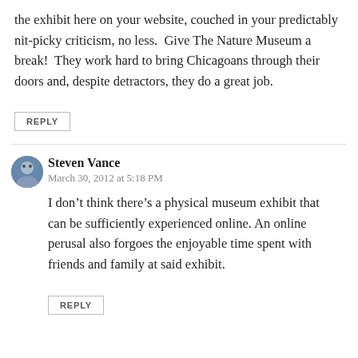the exhibit here on your website, couched in your predictably nit-picky criticism, no less.  Give The Nature Museum a break!  They work hard to bring Chicagoans through their doors and, despite detractors, they do a great job.
REPLY
Steven Vance
March 30, 2012 at 5:18 PM
I don’t think there’s a physical museum exhibit that can be sufficiently experienced online. An online perusal also forgoes the enjoyable time spent with friends and family at said exhibit.
REPLY